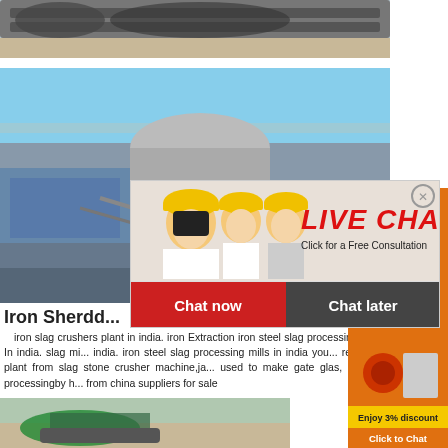[Figure (photo): Top photo showing construction machinery tracks on sandy ground]
[Figure (photo): Industrial plant/scrap processing facility with blue sky background]
Iron Sherdd...
iron slag crushers plant in india. iron Extraction iron steel slag processing mills In india. slag mi... india. iron steel slag processing mills in india you... recovery plant from slag stone crusher machine,ja... used to make gate glas, mineral processingby h... from china suppliers for sale
[Figure (photo): Bottom photo showing green crawler machinery]
[Figure (screenshot): Live Chat popup overlay with workers in yellow hard hats, LIVE CHAT heading in red italic, 'Click for a Free Consultation' subtext, Chat now (red) and Chat later (dark) buttons]
[Figure (infographic): Orange sidebar with crusher machine images, 'Enjoy 3% discount' yellow bar, 'Click to Chat' orange bar, and Enquiry section]